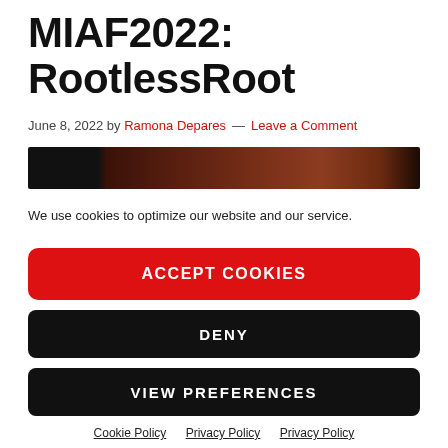MIAF2022: RootlessRoot
June 8, 2022 by Ramona Depares — Leave a Comment
[Figure (photo): Dark horizontal image bar, mostly black on the left transitioning to dark reddish-brown tones on the right]
We use cookies to optimize our website and our service.
ACCEPT COOKIES
DENY
VIEW PREFERENCES
Cookie Policy  Privacy Policy  Privacy Policy